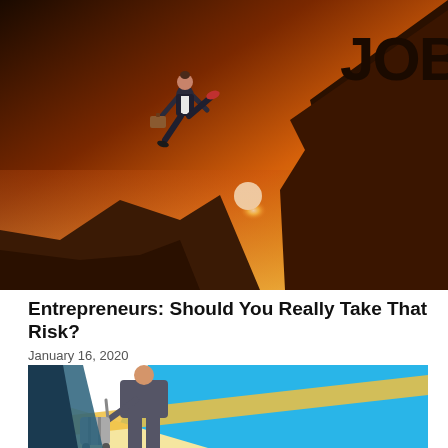[Figure (photo): A businesswoman in a suit leaping across a cliff gap at sunset, carrying a briefcase, with large letters 'JOB' on the rock in the background.]
Entrepreneurs: Should You Really Take That Risk?
January 16, 2020
[Figure (illustration): Cartoon illustration of a person in a suit pulling luggage, with blue and yellow geometric shapes in the background.]